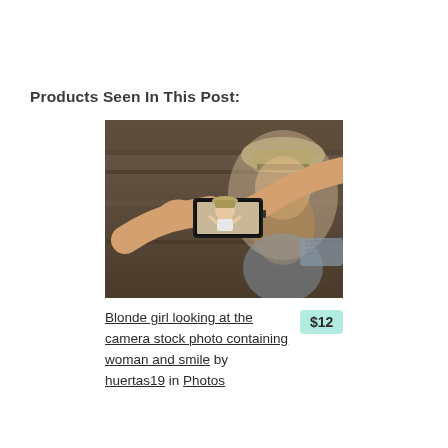Products Seen In This Post:
[Figure (photo): A person holding a smartphone taking a photo of a blonde woman wearing a hat, who is smiling and looking at the camera. The photo on the phone screen shows the woman posing.]
Blonde girl looking at the camera stock photo containing woman and smile by huertas19 in Photos  $12